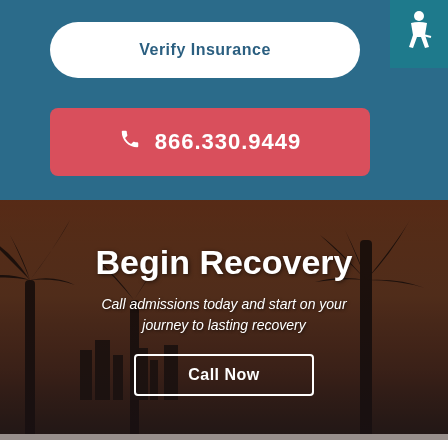Verify Insurance
866.330.9449
[Figure (photo): Tropical palm trees silhouetted against an orange-pink sunset sky with a city skyline in the background, with a dark overlay]
Begin Recovery
Call admissions today and start on your journey to lasting recovery
Call Now